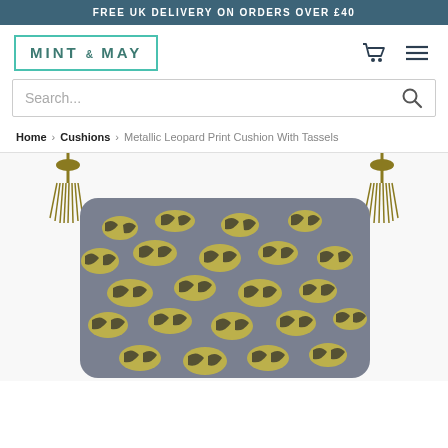FREE UK DELIVERY ON ORDERS OVER £40
[Figure (logo): Mint & May brand logo in teal border box]
Search...
Home › Cushions › Metallic Leopard Print Cushion With Tassels
[Figure (photo): Metallic leopard print cushion with gold/olive tassels on top corners, grey and gold leopard print fabric, white background]